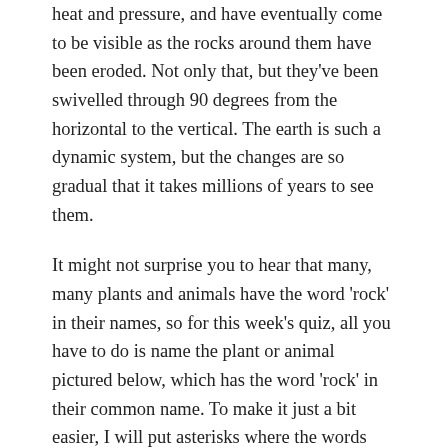heat and pressure, and have eventually come to be visible as the rocks around them have been eroded. Not only that, but they've been swivelled through 90 degrees from the horizontal to the vertical. The earth is such a dynamic system, but the changes are so gradual that it takes millions of years to see them.
It might not surprise you to hear that many, many plants and animals have the word 'rock' in their names, so for this week's quiz, all you have to do is name the plant or animal pictured below, which has the word 'rock' in their common name. To make it just a bit easier, I will put asterisks where the words that aren't 'rock' should be – after all we haven't had a quiz for a while so I will try to restrain my sadistic urges. Pop your answers in the comments, and I will disappear you as soon as I see you.
I'm going to publish the answers next Sunday (May 29th), so